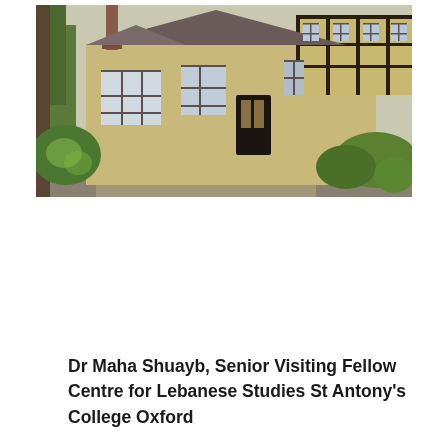[Figure (photo): Exterior photograph of a stone and timber-framed building, likely St Antony's College Oxford or the Centre for Lebanese Studies. The building features large multi-pane windows and Tudor-style black and white timber framing on the upper storey. Trees and green shrubs surround the entrance. The scene is sunny.]
Dr Maha Shuayb, Senior Visiting Fellow Centre for Lebanese Studies St Antony's College Oxford